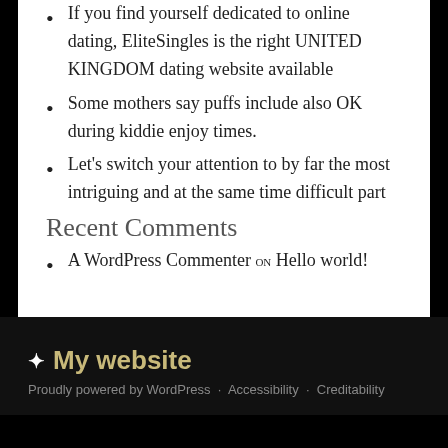If you find yourself dedicated to online dating, EliteSingles is the right UNITED KINGDOM dating website available
Some mothers say puffs include also OK during kiddie enjoy times.
Let's switch your attention to by far the most intriguing and at the same time difficult part
Recent Comments
A WordPress Commenter on Hello world!
My website